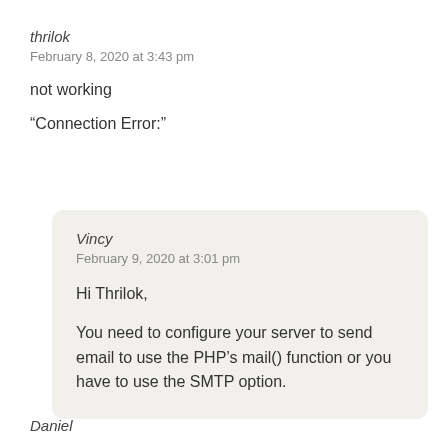thrilok
February 8, 2020 at 3:43 pm
not working
“Connection Error:”
Vincy
February 9, 2020 at 3:01 pm
Hi Thrilok,
You need to configure your server to send email to use the PHP’s mail() function or you have to use the SMTP option.
Daniel